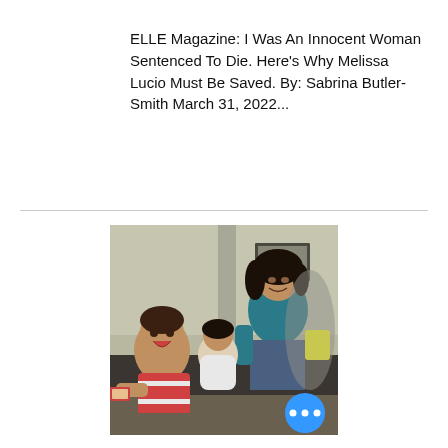ELLE Magazine: I Was An Innocent Woman Sentenced To Die. Here's Why Melissa Lucio Must Be Saved. By: Sabrina Butler-Smith March 31, 2022...
[Figure (photo): A woman with dark hair wearing a teal/blue top sits with two young children — a toddler in a striped shirt on the left and an infant in white on her lap — in what appears to be an indoor setting. A blue circular button with three white dots appears in the bottom-right corner of the photo.]